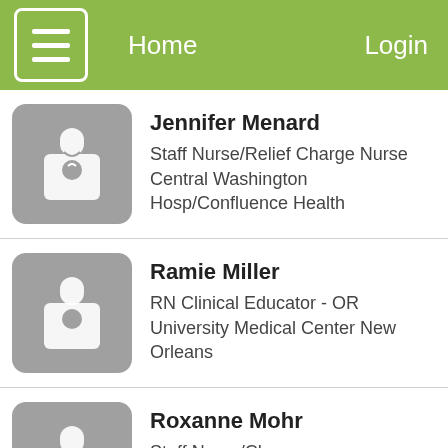Home | Login
Jennifer Menard
Staff Nurse/Relief Charge Nurse
Central Washington Hosp/Confluence Health
Ramie Miller
RN Clinical Educator - OR
University Medical Center New Orleans
Roxanne Mohr
Staff Nurse/Charge
Otsego Memorial Hospital Mbrshp
Susan Perry
Staff Nurse
Middlesex Hospital